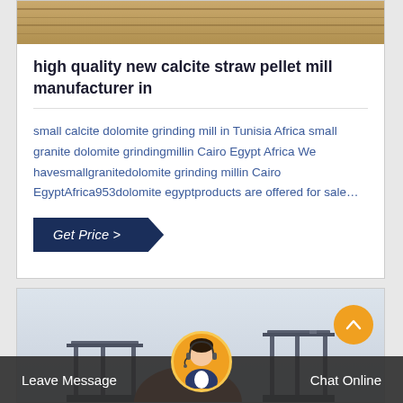[Figure (photo): Top image strip showing wooden/industrial surface]
high quality new calcite straw pellet mill manufacturer in
small calcite dolomite grinding mill in Tunisia Africa small granite dolomite grindingmillin Cairo Egypt Africa We havesmallgranitedolomite grinding millin Cairo EgyptAfrica953dolomite egyptproducts are offered for sale…
Get Price >
[Figure (photo): Industrial structures/equipment against light sky background]
Leave Message
Chat Online